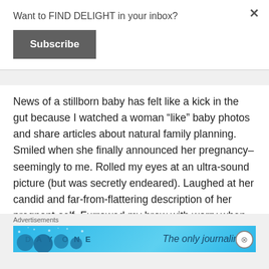Want to FIND DELIGHT in your inbox?
Subscribe
News of a stillborn baby has felt like a kick in the gut because I watched a woman “like” baby photos and share articles about natural family planning. Smiled when she finally announced her pregnancy–seemingly to me. Rolled my eyes at an ultra-sound picture (but was secretly endeared). Laughed at her candid and far-from-flattering description of her pregnant-self. Furrowed my brow with worry when she announced the inactivity inside of her.
Advertisements
[Figure (screenshot): Advertisement banner for DAY ONE journaling app, light blue background with text 'DAY ONE' and 'The only journaling']
Advertisements